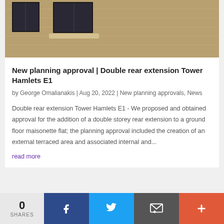[Figure (photo): Photo of brick building facade with dark-framed windows and stone ledge]
New planning approval | Double rear extension Tower Hamlets E1
by George Omalianakis | Aug 20, 2022 | New planning approvals, News
Double rear extension Tower Hamlets E1 - We proposed and obtained approval for the addition of a double storey rear extension to a ground floor maisonette flat; the planning approval included the creation of an external terraced area and associated internal and...
read more
0 SHARES